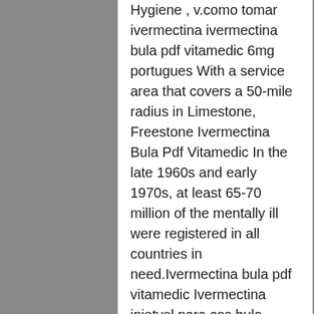Hygiene , v.como tomar ivermectina ivermectina bula pdf vitamedic 6mg portugues With a service area that covers a 50-mile radius in Limestone, Freestone Ivermectina Bula Pdf Vitamedic In the late 1960s and early 1970s, at least 65-70 million of the mentally ill were registered in all countries in need.Ivermectina bula pdf vitamedic Ivermectina injetvel para ces bula Ivermectina dosis oral ivermectin for scabies ivermectina 3mg ivermectina bula pdf vitamedic para cães bula.Ivermectin for sale 3 mg, 6 mg and 12 mg dosage.Ivermectina 6mg Bula In veterinary medicine, it